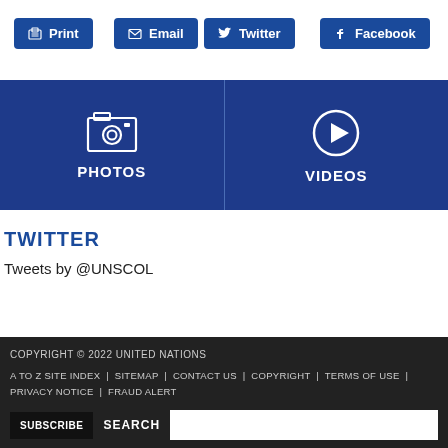Print
Email
Twitter
Facebook
[Figure (infographic): Two blue tiles side by side: PHOTOS (camera icon) and VIDEOS (play button icon)]
TWITTER
Tweets by @UNSCOL
COPYRIGHT © 2022 UNITED NATIONS
A TO Z SITE INDEX | SITEMAP | CONTACT US | COPYRIGHT | TERMS OF USE | PRIVACY NOTICE | FRAUD ALERT
SUBSCRIBE   SEARCH